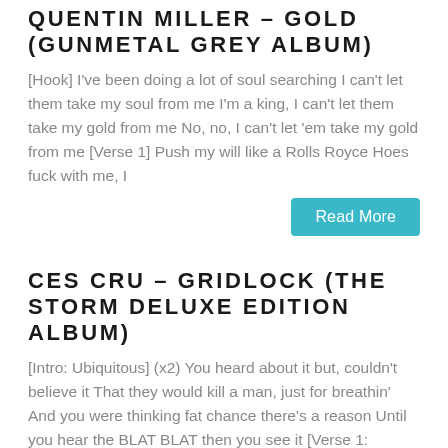QUENTIN MILLER – GOLD (GUNMETAL GREY ALBUM)
[Hook] I've been doing a lot of soul searching I can't let them take my soul from me I'm a king, I can't let them take my gold from me No, no, I can't let 'em take my gold from me [Verse 1] Push my will like a Rolls Royce Hoes fuck with me, I
Read More
CES CRU – GRIDLOCK (THE STORM DELUXE EDITION ALBUM)
[Intro: Ubiquitous] (x2) You heard about it but, couldn't believe it That they would kill a man, just for breathin' And you were thinking fat chance there's a reason Until you hear the BLAT BLAT then you see it [Verse 1: